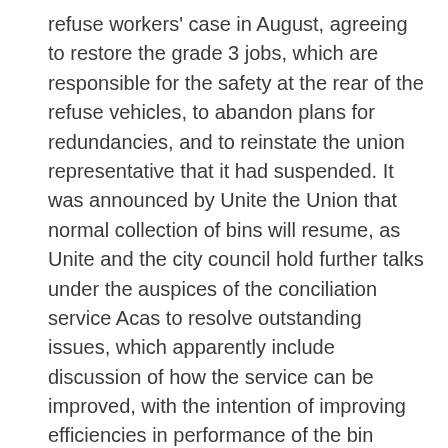refuse workers' case in August, agreeing to restore the grade 3 jobs, which are responsible for the safety at the rear of the refuse vehicles, to abandon plans for redundancies, and to reinstate the union representative that it had suspended. It was announced by Unite the Union that normal collection of bins will resume, as Unite and the city council hold further talks under the auspices of the conciliation service Acas to resolve outstanding issues, which apparently include discussion of how the service can be improved, with the intention of improving efficiencies in performance of the bin collection service generally, including what savings can be made, and specifically how best the current grade 3 roles can now be maintained and developed so that they take forward the ambition to deliver cleaner streets. It seems that the union, Unite, has also agreed in principle to recommend to its members work pattern changes, including